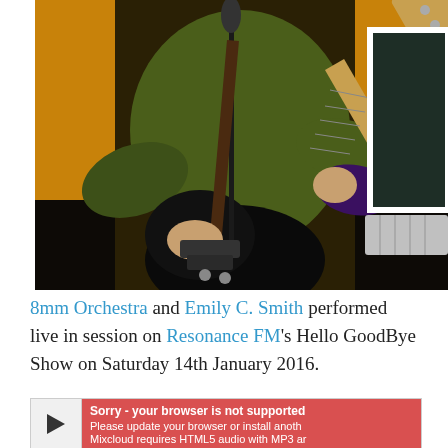[Figure (photo): A person wearing a green sweater playing a black electric guitar (Rickenbacker style) and holding a Fender guitar neck. A microphone stand is visible. The background shows an orange/amber wall and a white window frame with a radiator.]
8mm Orchestra and Emily C. Smith performed live in session on Resonance FM's Hello GoodBye Show on Saturday 14th January 2016.
[Figure (screenshot): An embedded Mixcloud audio player showing a play button on the left, and a red error banner reading 'Sorry - your browser is not supported. Please update your browser or install another. Mixcloud requires HTML5 audio with MP3 an...']